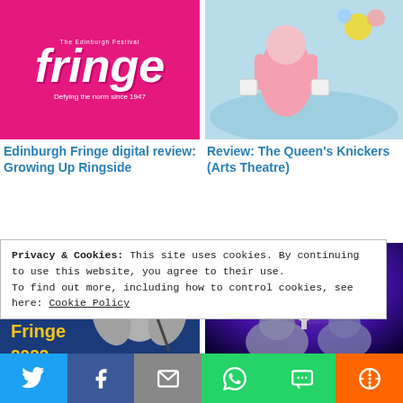[Figure (logo): Edinburgh Fringe Festival logo - pink/magenta background with white italic 'fringe' text and 'Defying the norm since 1947' tagline]
[Figure (illustration): The Queen's Knickers illustration - animated character in pink on blue background]
Edinburgh Fringe digital review: Growing Up Ringside
Review: The Queen's Knickers (Arts Theatre)
[Figure (logo): Camden Fringe 2022 logo - blue background with yellow text and pigeon mascot illustration]
[Figure (photo): Review: Circus 1903 - stage photo with purple lighting and performers with elephants]
Camden Fringe preview:
Review: Circus 1903 (Royal
Privacy & Cookies: This site uses cookies. By continuing to use this website, you agree to their use.
To find out more, including how to control cookies, see here: Cookie Policy
[Figure (infographic): Social sharing bar with Twitter, Facebook, Email, WhatsApp, SMS, and More buttons]